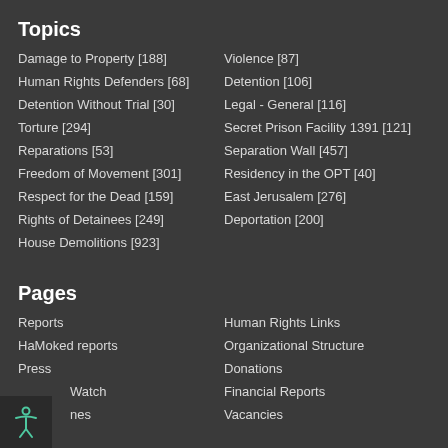Topics
Damage to Property [188]
Violence [87]
Human Rights Defenders [68]
Detention [106]
Detention Without Trial [30]
Legal - General [116]
Torture [294]
Secret Prison Facility 1391 [121]
Reparations [53]
Separation Wall [457]
Freedom of Movement [301]
Residency in the OPT [40]
Respect for the Dead [159]
East Jerusalem [276]
Rights of Detainees [249]
Deportation [200]
House Demolitions [923]
Pages
Reports
Human Rights Links
HaMoked reports
Organizational Structure
Press
Donations
Spot Watch
Financial Reports
Vacancies